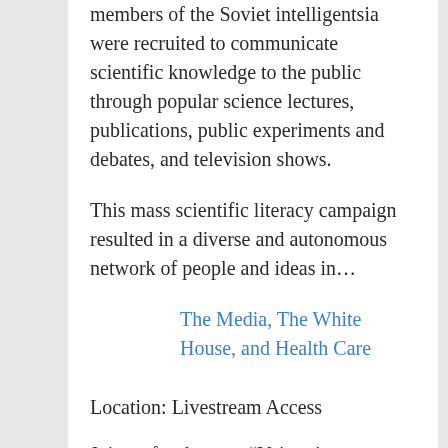members of the Soviet intelligentsia were recruited to communicate scientific knowledge to the public through popular science lectures, publications, public experiments and debates, and television shows.
This mass scientific literacy campaign resulted in a diverse and autonomous network of people and ideas in…
The Media, The White House, and Health Care
Location: Livestream Access
Join us for the next “Voices in